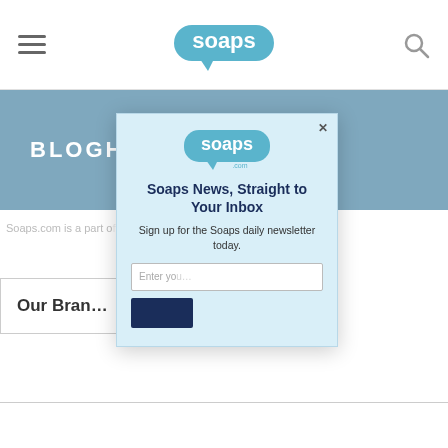soaps.com
BLOGHER
Soaps.com is a part of … Media, LLC. All Rights
[Figure (screenshot): Email signup modal popup with soaps.com logo, headline 'Soaps News, Straight to Your Inbox', subtext 'Sign up for the Soaps daily newsletter today.', email input field, and submit button]
Our Bran…